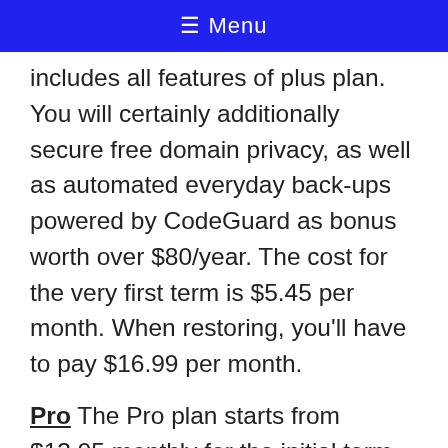≡ Menu
includes all features of plus plan. You will certainly additionally secure free domain privacy, as well as automated everyday back-ups powered by CodeGuard as bonus worth over $80/year. The cost for the very first term is $5.45 per month. When restoring, you'll have to pay $16.99 per month.
Pro The Pro plan starts from $13.95 monthly for the initial term after that